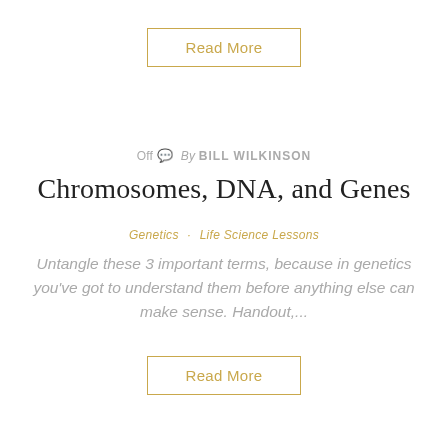Read More
Off  By BILL WILKINSON
Chromosomes, DNA, and Genes
Genetics   Life Science Lessons
Untangle these 3 important terms, because in genetics you've got to understand them before anything else can make sense. Handout,...
Read More